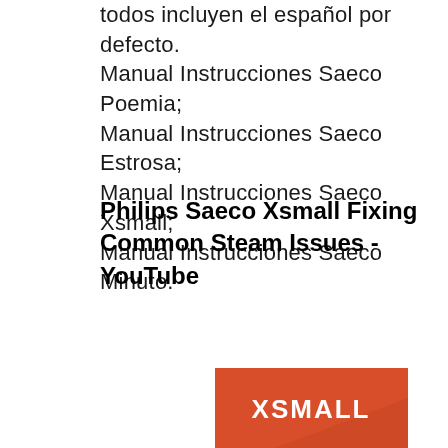todos incluyen el español por defecto. Manual Instrucciones Saeco Poemia; Manual Instrucciones Saeco Estrosa; Manual Instrucciones Saeco Xsmall; Manual Instrucciones Saeco Minuto.
Philips Saeco Xsmall Fixing Common Steam Issues - YouTube
[Figure (other): Red/orange YouTube thumbnail image showing the word XSMALL in white text on an orange-red background with a faint arrow/play shape]